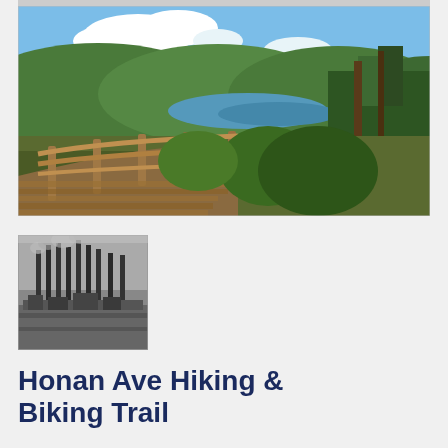[Figure (photo): Top strip: partial photo, mostly cropped at top of page]
[Figure (photo): Scenic trail photo showing a wooden boardwalk/railing alongside a winding path through lush green forested hills with a lake or river visible in the background under a blue sky with clouds]
[Figure (photo): Small black and white historical photograph showing an industrial scene with tall smokestacks and structures, appears to be a steel mill or similar industrial facility]
Honan Ave Hiking & Biking Trail